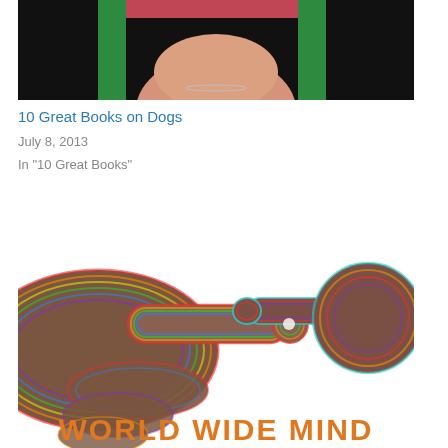[Figure (photo): Partial photo of a woman wearing a green top and black outfit, cropped at chin/neck level, shown from above]
10 Great Books on Dogs
July 8, 2013
In "10 Great Books"
[Figure (photo): Book cover for 'World Wide Mind' showing two colorful, patterned hands reaching toward each other to touch fingertips (reminiscent of Michelangelo's Creation of Adam), with neon/rainbow colored textures on a white background. Orange bold text reads 'WORLD WIDE MIND' at the bottom.]